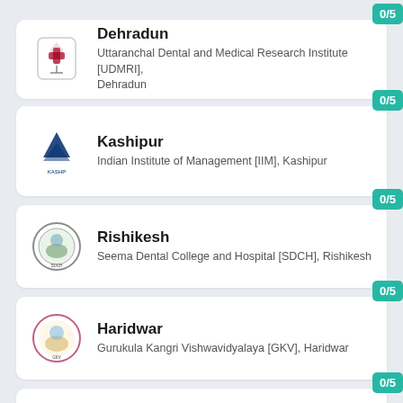0/5
Dehradun — Uttaranchal Dental and Medical Research Institute [UDMRI], Dehradun
0/5
Kashipur — Indian Institute of Management [IIM], Kashipur
0/5
Rishikesh — Seema Dental College and Hospital [SDCH], Rishikesh
0/5
Haridwar — Gurukula Kangri Vishwavidyalaya [GKV], Haridwar
0/5
Garhwal — Hemwati Nandan Bahuguna Garhwal University, Garhwal